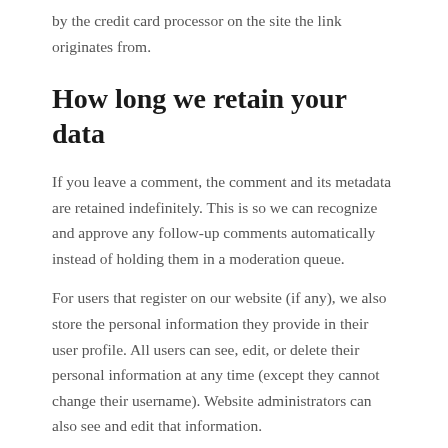by the credit card processor on the site the link originates from.
How long we retain your data
If you leave a comment, the comment and its metadata are retained indefinitely. This is so we can recognize and approve any follow-up comments automatically instead of holding them in a moderation queue.
For users that register on our website (if any), we also store the personal information they provide in their user profile. All users can see, edit, or delete their personal information at any time (except they cannot change their username). Website administrators can also see and edit that information.
What rights you have over your data